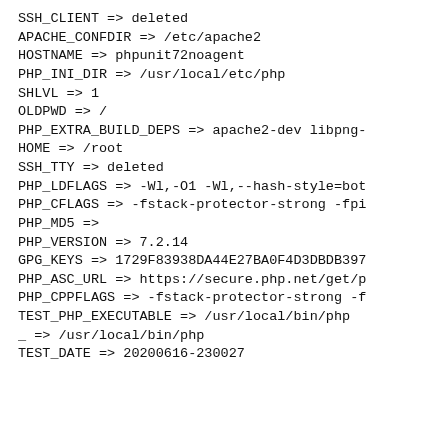SSH_CLIENT => deleted
APACHE_CONFDIR => /etc/apache2
HOSTNAME => phpunit72noagent
PHP_INI_DIR => /usr/local/etc/php
SHLVL => 1
OLDPWD => /
PHP_EXTRA_BUILD_DEPS => apache2-dev libpng-
HOME => /root
SSH_TTY => deleted
PHP_LDFLAGS => -Wl,-O1 -Wl,--hash-style=bot
PHP_CFLAGS => -fstack-protector-strong -fpi
PHP_MD5 =>
PHP_VERSION => 7.2.14
GPG_KEYS => 1729F83938DA44E27BA0F4D3DBDB397
PHP_ASC_URL => https://secure.php.net/get/p
PHP_CPPFLAGS => -fstack-protector-strong -f
TEST_PHP_EXECUTABLE => /usr/local/bin/php
_ => /usr/local/bin/php
TEST_DATE => 20200616-230027